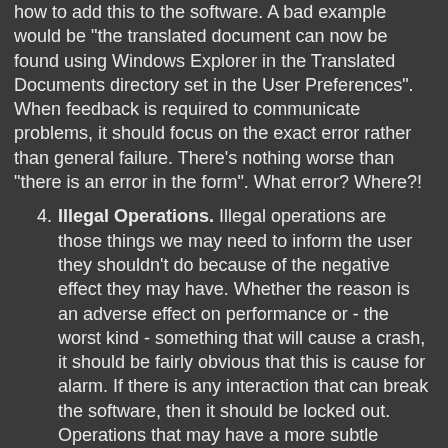how to add this to the software. A bad example would be "the translated document can now be found using Windows Explorer in the Translated Documents directory set in the User Preferences". When feedback is required to communicate problems, it should focus on the exact error rather than general failure. There's nothing worse than "there is an error in the form". What error? Where?!
4. Illegal Operations. Illegal operations are those things we may need to inform the user they shouldn't do because of the negative effect they may have. Whether the reason is an adverse effect on performance or - the worst kind - something that will cause a crash, it should be fairly obvious that this is cause for alarm. If there is any interaction that can break the software, then it should be locked out. Operations that may have a more subtle negative effect should be warned against in the software, not in documentation, for example pop-ups that say "...this may take some time..." or "...this will break backwards compatibility with version 1.1". For long running operations, a modal progress dialog is a simple solution. Selective greying out is also common